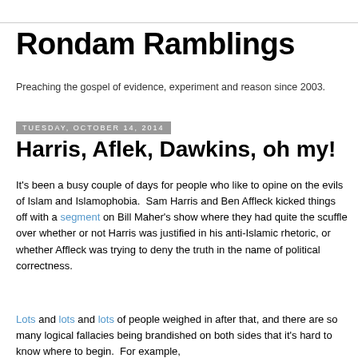Rondam Ramblings
Preaching the gospel of evidence, experiment and reason since 2003.
Tuesday, October 14, 2014
Harris, Aflek, Dawkins, oh my!
It's been a busy couple of days for people who like to opine on the evils of Islam and Islamophobia.  Sam Harris and Ben Affleck kicked things off with a segment on Bill Maher's show where they had quite the scuffle over whether or not Harris was justified in his anti-Islamic rhetoric, or whether Affleck was trying to deny the truth in the name of political correctness.
Lots and lots and lots of people weighed in after that, and there are so many logical fallacies being brandished on both sides that it's hard to know where to begin.  For example,